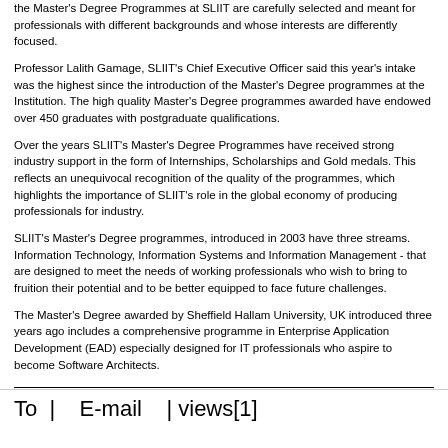the Master's Degree Programmes at SLIIT are carefully selected and meant for professionals with different backgrounds and whose interests are differently focused.
Professor Lalith Gamage, SLIIT's Chief Executive Officer said this year's intake was the highest since the introduction of the Master's Degree programmes at the Institution. The high quality Master's Degree programmes awarded have endowed over 450 graduates with postgraduate qualifications.
Over the years SLIIT's Master's Degree Programmes have received strong industry support in the form of Internships, Scholarships and Gold medals. This reflects an unequivocal recognition of the quality of the programmes, which highlights the importance of SLIIT's role in the global economy of producing professionals for industry.
SLIIT's Master's Degree programmes, introduced in 2003 have three streams. Information Technology, Information Systems and Information Management - that are designed to meet the needs of working professionals who wish to bring to fruition their potential and to be better equipped to face future challenges.
The Master's Degree awarded by Sheffield Hallam University, UK introduced three years ago includes a comprehensive programme in Enterprise Application Development (EAD) especially designed for IT professionals who aspire to become Software Architects.
To  |   E-mail   | views[1]